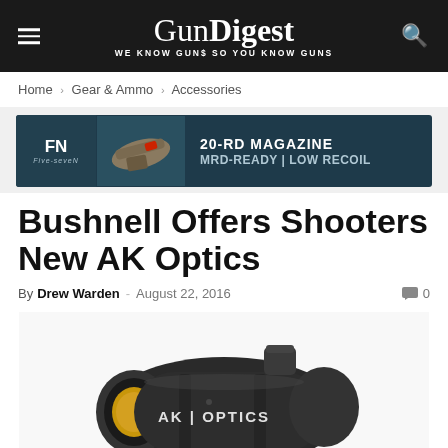GunDigest — WE KNOW GUNS SO YOU KNOW GUNS
Home › Gear & Ammo › Accessories
[Figure (photo): FN advertisement banner: FN Five-seveN pistol with text '20-RD MAGAZINE MRD-READY | LOW RECOIL']
Bushnell Offers Shooters New AK Optics
By Drew Warden · August 22, 2016 · 0 comments
[Figure (photo): Close-up photo of a Bushnell AK Optics red dot sight showing the yellow/amber lens and 'AK | OPTICS' branding on the black housing]